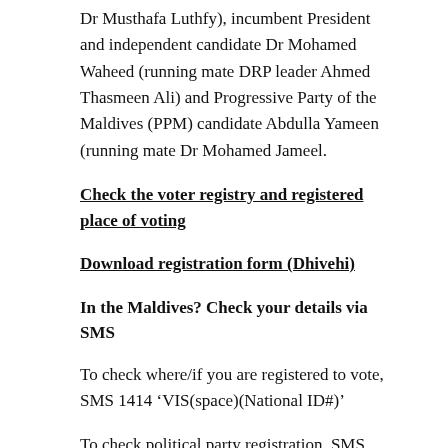Dr Musthafa Luthfy), incumbent President and independent candidate Dr Mohamed Waheed (running mate DRP leader Ahmed Thasmeen Ali) and Progressive Party of the Maldives (PPM) candidate Abdulla Yameen (running mate Dr Mohamed Jameel.
Check the voter registry and registered place of voting
Download registration form (Dhivehi)
In the Maldives? Check your details via SMS
To check where/if you are registered to vote, SMS 1414 ‘VIS(space)(National ID#)’
To check political party registration, SMS 1414 ‘PPR(space)(National ID#)’